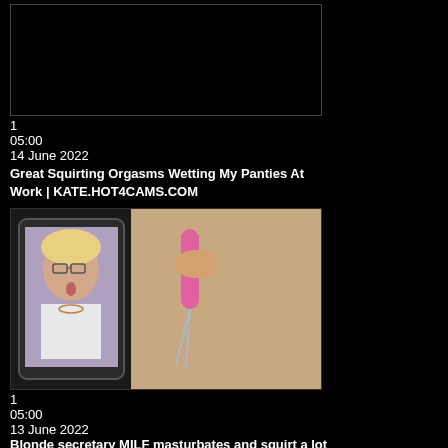[Figure (screenshot): Black thumbnail placeholder rectangle]
1
05:00
14 June 2022
Great Squirting Orgasms Wetting My Panties At Work | KATE.HOT4CAMS.COM
[Figure (screenshot): Video thumbnail showing a split screen: left panel shows a blonde woman with glasses and a necklace wearing a white top, mouth open; right panel shows an explicit close-up with a pink device]
1
05:00
13 June 2022
Blonde secretary MILF masturbates and squirt a lot at work |